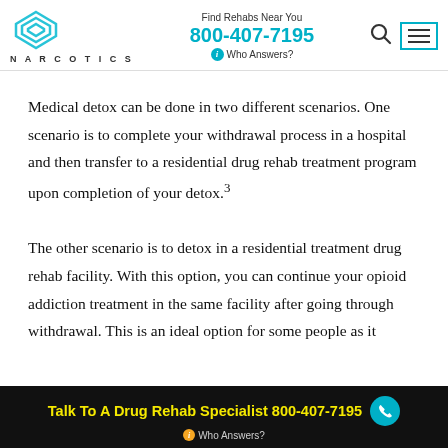NARCOTICS | Find Rehabs Near You 800-407-7195 | Who Answers?
Medical detox can be done in two different scenarios. One scenario is to complete your withdrawal process in a hospital and then transfer to a residential drug rehab treatment program upon completion of your detox.³
The other scenario is to detox in a residential treatment drug rehab facility. With this option, you can continue your opioid addiction treatment in the same facility after going through withdrawal. This is an ideal option for some people as it
Talk To A Drug Rehab Specialist 800-407-7195 | Who Answers?